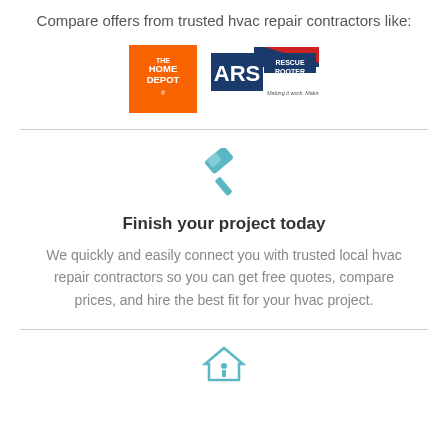Compare offers from trusted hvac repair contractors like:
[Figure (logo): The Home Depot orange logo and ARS Rescue Rooter logo side by side]
Finish your project today
We quickly and easily connect you with trusted local hvac repair contractors so you can get free quotes, compare prices, and hire the best fit for your hvac project.
[Figure (illustration): Teal house/info icon at bottom of page (partially visible)]